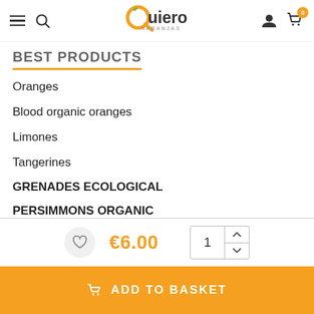Quiero Naranjas — navigation header with hamburger, search, logo, user, cart icons
BEST PRODUCTS
Oranges
Blood organic oranges
Limones
Tangerines
GRENADES ECOLOGICAL
PERSIMMONS ORGANIC
custom fruit basket
CONTACT
€6.00  1  Add to Basket